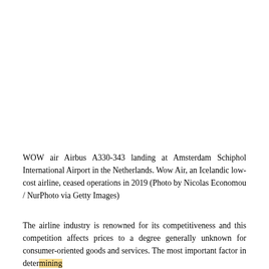[Figure (photo): WOW air Airbus A330-343 landing at Amsterdam Schiphol International Airport — image area (white/blank in this view)]
WOW air Airbus A330-343 landing at Amsterdam Schiphol International Airport in the Netherlands. Wow Air, an Icelandic low-cost airline, ceased operations in 2019 (Photo by Nicolas Economou / NurPhoto via Getty Images)
The airline industry is renowned for its competitiveness and this competition affects prices to a degree generally unknown for consumer-oriented goods and services. The most important factor in determining